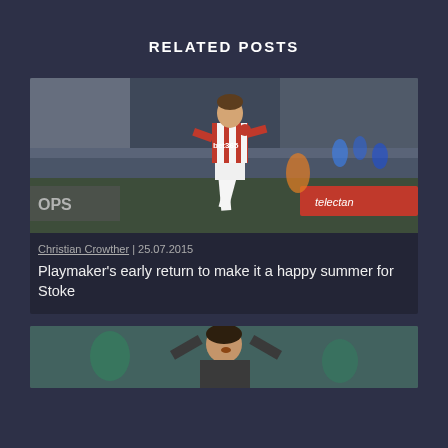RELATED POSTS
[Figure (photo): Football player in red and white Stoke City kit with bet365 sponsor, running on pitch with crowd in background]
Christian Crowther | 25.07.2015
Playmaker's early return to make it a happy summer for Stoke
[Figure (photo): Man in dark clothing gesturing with arms raised, partially visible at bottom of page]